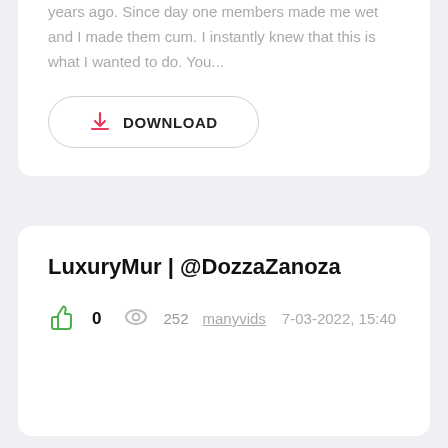years ago. Since day one members made me wet and I made them cum. I instantly knew that this is what I wanted to do. You...
[Figure (other): Download button with download icon and label DOWNLOAD]
LuxuryMur | @DozzaZanoza
0  252  manyvids  7-03-2022, 15:40